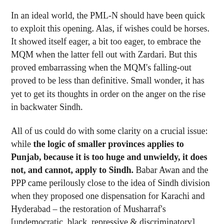In an ideal world, the PML-N should have been quick to exploit this opening. Alas, if wishes could be horses. It showed itself eager, a bit too eager, to embrace the MQM when the latter fell out with Zardari. But this proved embarrassing when the MQM's falling-out proved to be less than definitive. Small wonder, it has yet to get its thoughts in order on the anger on the rise in backwater Sindh.
All of us could do with some clarity on a crucial issue: while the logic of smaller provinces applies to Punjab, because it is too huge and unwieldy, it does not, and cannot, apply to Sindh. Babar Awan and the PPP came perilously close to the idea of Sindh division when they proposed one dispensation for Karachi and Hyderabad – the restoration of Musharraf's [undemocratic, black, repressive & discriminatory] local body system – and another for the rural, revival of the commissionerate system. Sindh rural instantly saw red and the PPP had to back down immediately, in the space of a mere 24